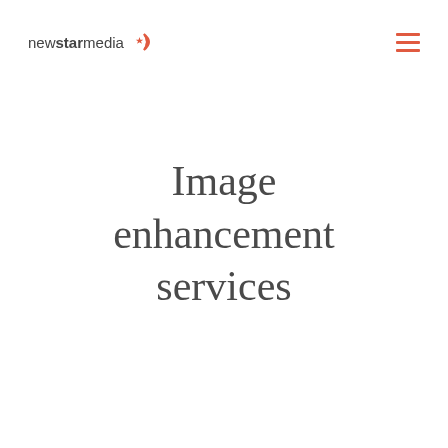newstarmedia
Image enhancement services